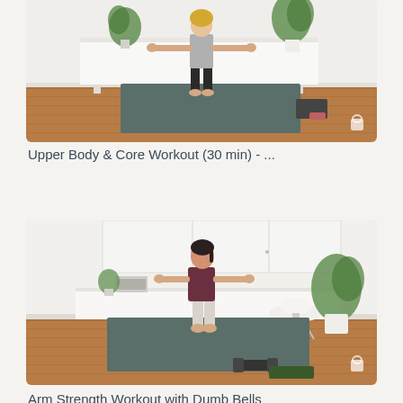[Figure (photo): A woman in a gray tank top and black capri pants stands on a dark yoga mat in a bright home studio, arms slightly raised. Behind her is a white desk and shelving unit. Green plants and fitness equipment are visible.]
Upper Body & Core Workout (30 min) - ...
[Figure (photo): A woman in a maroon top and light gray leggings performs an arm exercise on a dark yoga mat in a home studio. White cabinets, a white round chair, green plants, and dumbbells are visible.]
Arm Strength Workout with Dumb Bells